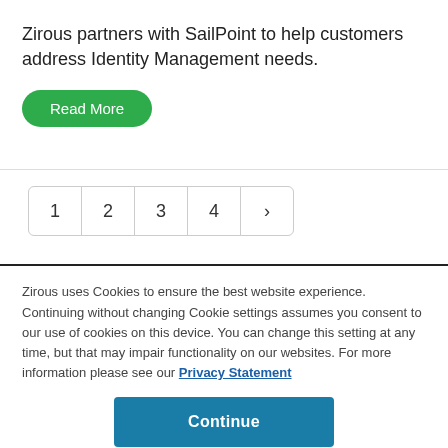Zirous partners with SailPoint to help customers address Identity Management needs.
Read More
1 2 3 4 >
Zirous uses Cookies to ensure the best website experience. Continuing without changing Cookie settings assumes you consent to our use of cookies on this device. You can change this setting at any time, but that may impair functionality on our websites. For more information please see our Privacy Statement
Continue